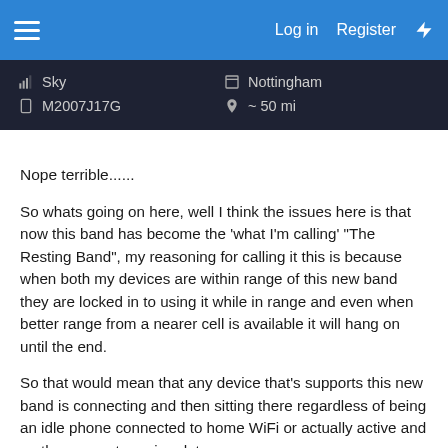Log in  Register
[Figure (infographic): Dark info card showing: signal icon Sky, device icon M2007J17G, location icon Nottingham, pin icon ~50 mi]
Nope terrible......
So whats going on here, well I think the issues here is that now this band has become the 'what I'm calling' "The Resting Band", my reasoning for calling it this is because when both my devices are within range of this new band they are locked in to using it while in range and even when better range from a nearer cell is available it will hang on until the end.
So that would mean that any device that's supports this new band is connecting and then sitting there regardless of being an idle phone connected to home WiFi or actually active and on the move streaming data.
A...